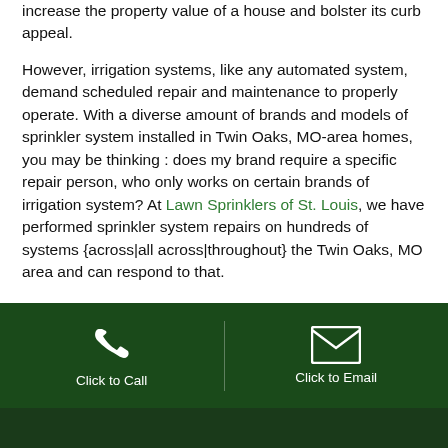increase the property value of a house and bolster its curb appeal.

However, irrigation systems, like any automated system, demand scheduled repair and maintenance to properly operate. With a diverse amount of brands and models of sprinkler system installed in Twin Oaks, MO-area homes, you may be thinking : does my brand require a specific repair person, who only works on certain brands of irrigation system? At Lawn Sprinklers of St. Louis, we have performed sprinkler system repairs on hundreds of systems {across|all across|throughout} the Twin Oaks, MO area and can respond to that.
[Figure (other): Dark green footer bar with phone icon 'Click to Call' on the left and envelope icon 'Click to Email' on the right, against a dark green background.]